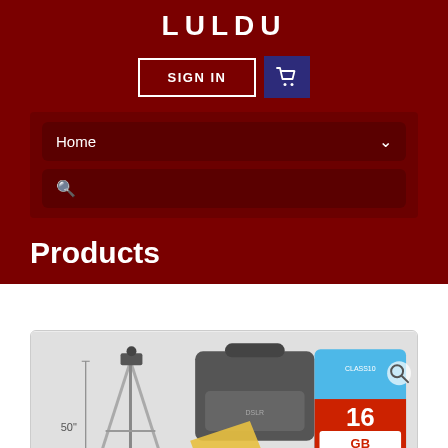LULDU
[Figure (screenshot): Sign In button and shopping cart icon button in the header navigation]
[Figure (screenshot): Navigation dropdown showing Home with chevron and a search bar below it]
Products
[Figure (photo): Product image showing a 50-inch tripod, camera bag, yellow cleaning cloth, and a 16GB SD card with a search magnifier overlay]